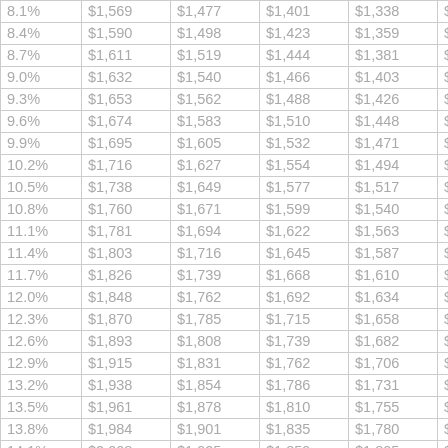| 8.1% | $1,569 | $1,477 | $1,401 | $1,338 | $1,284 |
| 8.4% | $1,590 | $1,498 | $1,423 | $1,359 | $1,306 |
| 8.7% | $1,611 | $1,519 | $1,444 | $1,381 | $1,328 |
| 9.0% | $1,632 | $1,540 | $1,466 | $1,403 | $1,351 |
| 9.3% | $1,653 | $1,562 | $1,488 | $1,426 | $1,374 |
| 9.6% | $1,674 | $1,583 | $1,510 | $1,448 | $1,397 |
| 9.9% | $1,695 | $1,605 | $1,532 | $1,471 | $1,420 |
| 10.2% | $1,716 | $1,627 | $1,554 | $1,494 | $1,443 |
| 10.5% | $1,738 | $1,649 | $1,577 | $1,517 | $1,466 |
| 10.8% | $1,760 | $1,671 | $1,599 | $1,540 | $1,490 |
| 11.1% | $1,781 | $1,694 | $1,622 | $1,563 | $1,514 |
| 11.4% | $1,803 | $1,716 | $1,645 | $1,587 | $1,538 |
| 11.7% | $1,826 | $1,739 | $1,668 | $1,610 | $1,562 |
| 12.0% | $1,848 | $1,762 | $1,692 | $1,634 | $1,586 |
| 12.3% | $1,870 | $1,785 | $1,715 | $1,658 | $1,610 |
| 12.6% | $1,893 | $1,808 | $1,739 | $1,682 | $1,635 |
| 12.9% | $1,915 | $1,831 | $1,762 | $1,706 | $1,660 |
| 13.2% | $1,938 | $1,854 | $1,786 | $1,731 | $1,685 |
| 13.5% | $1,961 | $1,878 | $1,810 | $1,755 | $1,710 |
| 13.8% | $1,984 | $1,901 | $1,835 | $1,780 | $1,735 |
| 14.1% | $2,008 | $1,925 | $1,859 | $1,805 | $1,761 |
| 14.4% | $2,031 | $1,949 | $1,884 | $1,830 | $1,786 |
| 14.7% | $2,054 | $1,973 | $1,908 | $1,855 | $1,812 |
| 15.0% | $2,078 | $1,998 | $1,933 | $1,881 | $1,838 |